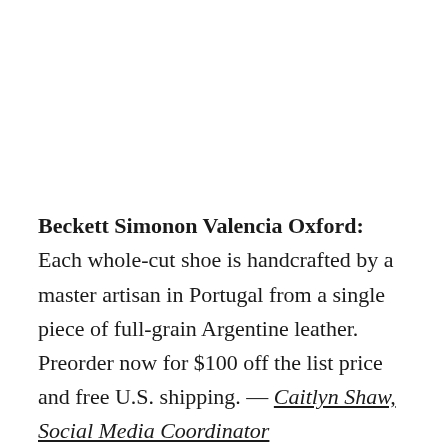Beckett Simonon Valencia Oxford: Each whole-cut shoe is handcrafted by a master artisan in Portugal from a single piece of full-grain Argentine leather. Preorder now for $100 off the list price and free U.S. shipping. — Caitlyn Shaw, Social Media Coordinator